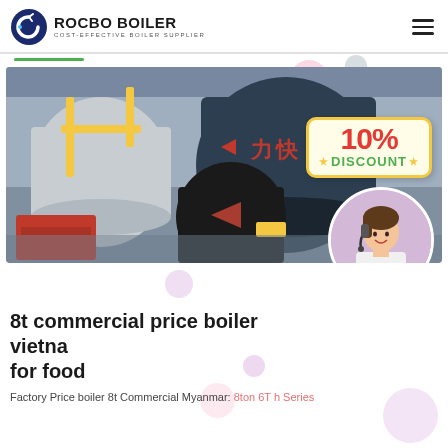[Figure (logo): Rocbo Boiler logo with circular C graphic and text 'ROCBO BOILER / COST-EFFECTIVE BOILER SUPPLIER']
[Figure (photo): Industrial boiler room photo showing large cylindrical boilers, yellow piping, red equipment. Overlay shows 10% DISCOUNT badge and customer service agent in circle.]
8t commercial price boiler vietnam for food
Factory Price boiler 8t Commercial Myanmar: 8ton 6T h Series